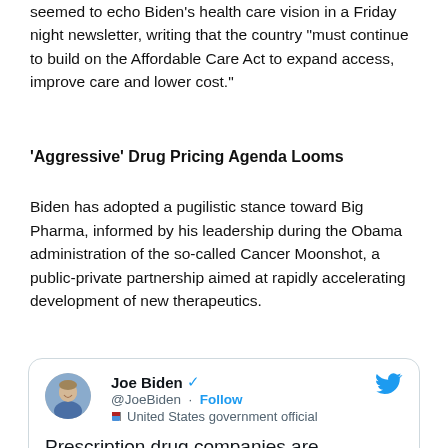seemed to echo Biden's health care vision in a Friday night newsletter, writing that the country "must continue to build on the Affordable Care Act to expand access, improve care and lower cost."
'Aggressive' Drug Pricing Agenda Looms
Biden has adopted a pugilistic stance toward Big Pharma, informed by his leadership during the Obama administration of the so-called Cancer Moonshot, a public-private partnership aimed at rapidly accelerating development of new therapeutics.
[Figure (screenshot): Tweet by @JoeBiden (United States government official) with verified badge and Follow button. Tweet text begins: 'Prescription drug companies are profiteering off the pocketbooks of sick']